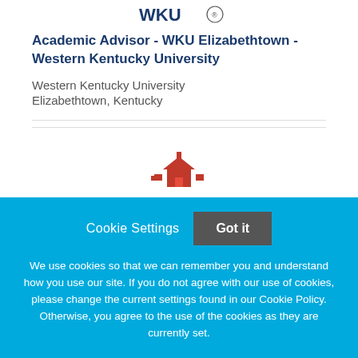[Figure (logo): WKU (Western Kentucky University) logo partial view at top]
Academic Advisor - WKU Elizabethtown - Western Kentucky University
Western Kentucky University
Elizabethtown, Kentucky
[Figure (illustration): Red WKU campus icon/illustration partially visible]
Cookie Settings   Got it
We use cookies so that we can remember you and understand how you use our site. If you do not agree with our use of cookies, please change the current settings found in our Cookie Policy. Otherwise, you agree to the use of the cookies as they are currently set.